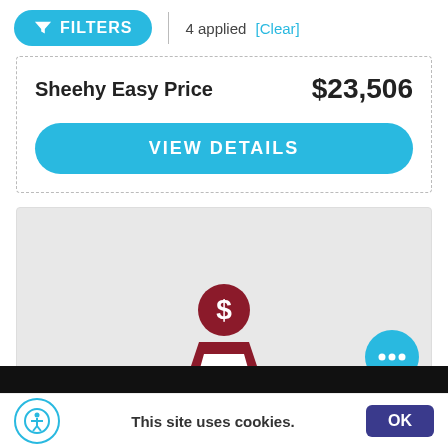FILTERS | 4 applied [Clear]
Sheehy Easy Price  $23,506
VIEW DETAILS
[Figure (illustration): Gray placeholder image area with a dark red price tag / dollar sign icon at the bottom center, and a teal circular chat button at bottom right]
This site uses cookies.  OK